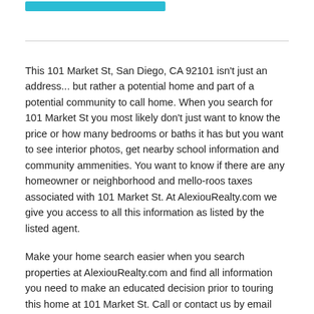[Figure (other): Teal/cyan colored button or banner element at the top of the page]
This 101 Market St, San Diego, CA 92101 isn't just an address... but rather a potential home and part of a potential community to call home. When you search for 101 Market St you most likely don't just want to know the price or how many bedrooms or baths it has but you want to see interior photos, get nearby school information and community ammenities. You want to know if there are any homeowner or neighborhood and mello-roos taxes associated with 101 Market St. At AlexiouRealty.com we give you access to all this information as listed by the listed agent.
Make your home search easier when you search properties at AlexiouRealty.com and find all information you need to make an educated decision prior to touring this home at 101 Market St. Call or contact us by email using the contact forms to find out additional information not available to public or to schedule an appointment to see the home at 101 Market St. You can also save